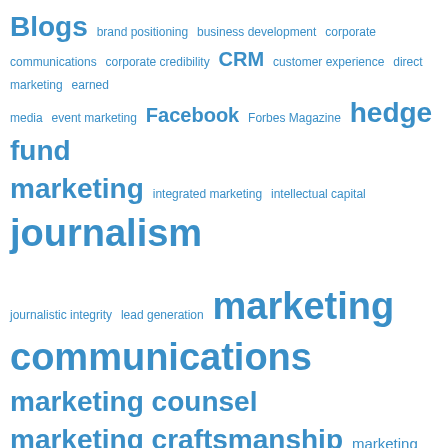[Figure (infographic): Tag cloud of marketing and PR related terms in varying font sizes, all in blue. Larger terms include: marketing communications, marketing craftsmanship, marketing ROI, marketing strategy, PR strategy, public relations, journalism, hedge fund marketing, Facebook, marketing counsel, professional services marketing, PR firms. Smaller terms include: Blogs, brand positioning, business development, corporate communications, corporate credibility, CRM, customer experience, direct marketing, earned media, event marketing, Forbes Magazine, integrated marketing, intellectual capital, journalistic integrity, lead generation, marketing firms, Marketing Plan, media coverage, media exposure, new business development, New Jersey PR firms, New York Times, press coverage, public relations.]